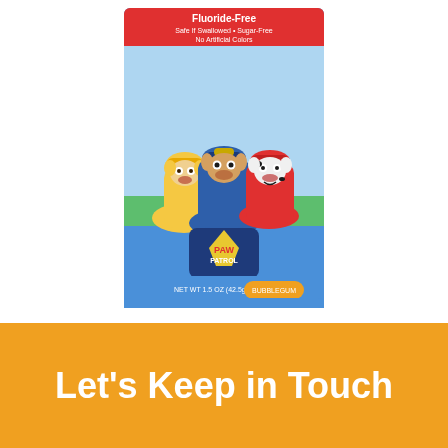[Figure (photo): Product box of Orajel Paw Patrol Fluoride-Free Training Toothpaste showing cartoon characters Chase, Rubble, and Marshall from Paw Patrol on a blue and white box. Text on box reads: Fluoride-Free, Safe If Swallowed, Sugar-Free, No Artificial Colors, NET WT 1.5 OZ (42.5g). Bubble gum flavor label visible at bottom.]
Orajel™ Paw Patrol™ Fluoride-Free Training Toothpaste
Let's Keep in Touch